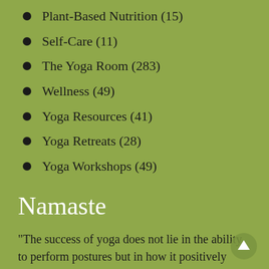Plant-Based Nutrition (15)
Self-Care (11)
The Yoga Room (283)
Wellness (49)
Yoga Resources (41)
Yoga Retreats (28)
Yoga Workshops (49)
Namaste
“The success of yoga does not lie in the ability to perform postures but in how it positively changes the way we live our life and our relationships.”
– TKV Desikachar